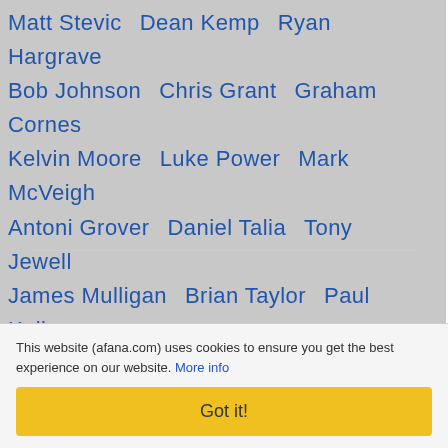Matt Stevic   Dean Kemp   Ryan Hargrave   Bob Johnson   Chris Grant   Graham Cornes   Kelvin Moore   Luke Power   Mark McVeigh   Antoni Grover   Daniel Talia   Tony Jewell   James Mulligan   Brian Taylor   Paul Kelly   Mathew Nicholls   Simon Meredith   TV Info   TSN2   LiveAFLtv   TSN.ca   Fox Soccer Plus   Grand Final Parties   Grand Final Day   AFL on Radio   3AW   SEN   Triple M   ABC Radio   K-Rock   NIRS   Coleman Medalist   Auskick   Umpires   Bruce McAvaney   Dennis Cometti   Tim Rogers   The Temper Trap
This website (afana.com) uses cookies to ensure you get the best experience on our website. More info
Got it!